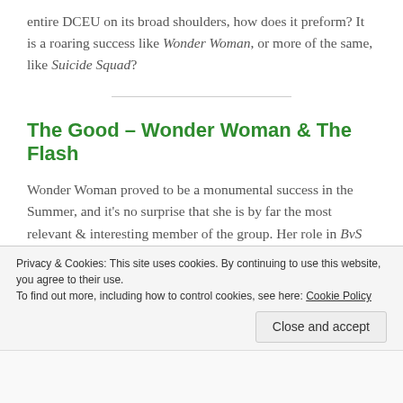entire DCEU on its broad shoulders, how does it preform? It is a roaring success like Wonder Woman, or more of the same, like Suicide Squad?
The Good – Wonder Woman & The Flash
Wonder Woman proved to be a monumental success in the Summer, and it's no surprise that she is by far the most relevant & interesting member of the group. Her role in BvS was disappointing, considering the power that she wields, but here, Gal Gad…
Privacy & Cookies: This site uses cookies. By continuing to use this website, you agree to their use.
To find out more, including how to control cookies, see here: Cookie Policy